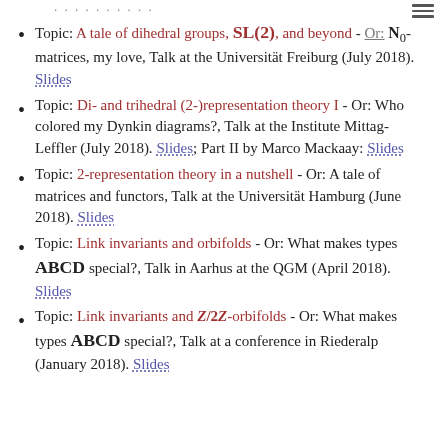Topic: A tale of dihedral groups, SL(2), and beyond - Or: N0-matrices, my love, Talk at the Universität Freiburg (July 2018). Slides
Topic: Di- and trihedral (2-)representation theory I - Or: Who colored my Dynkin diagrams?, Talk at the Institute Mittag-Leffler (July 2018). Slides; Part II by Marco Mackaay: Slides
Topic: 2-representation theory in a nutshell - Or: A tale of matrices and functors, Talk at the Universität Hamburg (June 2018). Slides
Topic: Link invariants and orbifolds - Or: What makes types ABCD special?, Talk in Aarhus at the QGM (April 2018). Slides
Topic: Link invariants and Z/2Z-orbifolds - Or: What makes types ABCD special?, Talk at a conference in Riederalp (January 2018). Slides